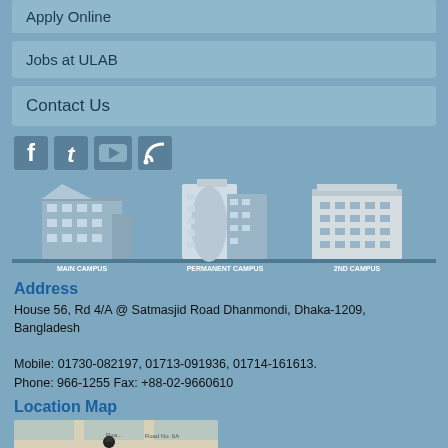Apply Online
Jobs at ULAB
Contact Us
[Figure (illustration): Social media icons: Facebook, Twitter, YouTube, RSS feed]
[Figure (illustration): Three campus building illustrations labeled MAIN CAMPUS, PERMANENT CAMPUS, and 2ND CAMPUS]
Address
House 56, Rd 4/A @ Satmasjid Road Dhanmondi, Dhaka-1209, Bangladesh

Mobile: 01730-082197, 01713-091936, 01714-161613.
Phone: 966-1255 Fax: +88-02-9660610
Location Map
[Figure (map): Google map showing location near Road No. 6A, Dhanmondi area]